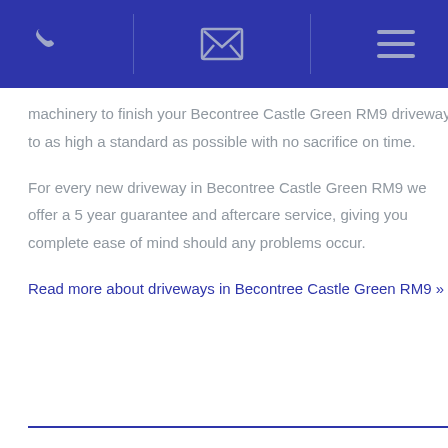[Phone icon] [Email icon] [Menu icon]
machinery to finish your Becontree Castle Green RM9 driveway to as high a standard as possible with no sacrifice on time.
For every new driveway in Becontree Castle Green RM9 we offer a 5 year guarantee and aftercare service, giving you complete ease of mind should any problems occur.
Read more about driveways in Becontree Castle Green RM9 »